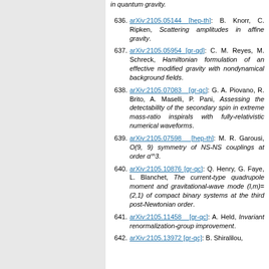636. arXiv:2105.05144 [hep-th]: B. Knorr, C. Ripken, Scattering amplitudes in affine gravity.
637. arXiv:2105.05954 [gr-qd]: C. M. Reyes, M. Schreck, Hamiltonian formulation of an effective modified gravity with nondynamical background fields.
638. arXiv:2105.07083 [gr-qc]: G. A. Piovano, R. Brito, A. Maselli, P. Pani, Assessing the detectability of the secondary spin in extreme mass-ratio inspirals with fully-relativistic numerical waveforms.
639. arXiv:2105.07598 [hep-th]: M. R. Garousi, O(9, 9) symmetry of NS-NS couplings at order α'^3.
640. arXiv:2105.10876 [gr-qc]: Q. Henry, G. Faye, L. Blanchet, The current-type quadrupole moment and gravitational-wave mode (l,m)=(2,1) of compact binary systems at the third post-Newtonian order.
641. arXiv:2105.11458 [gr-qc]: A. Held, Invariant renormalization-group improvement.
642. arXiv:2105.13972 [gr-qc]: B. Shiralilou,